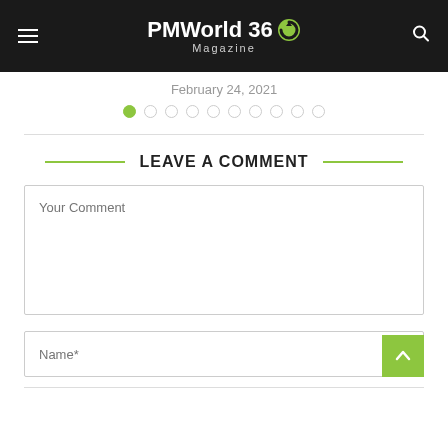PMWorld 360 Magazine
February 24, 2021
LEAVE A COMMENT
Your Comment
Name*